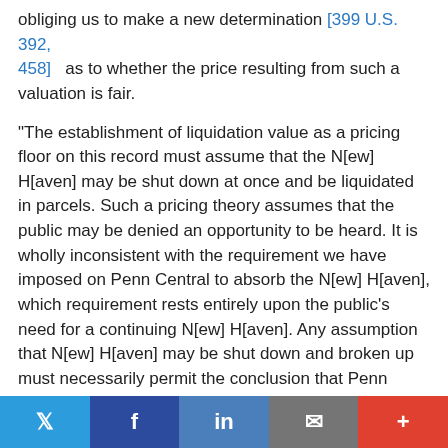obliging us to make a new determination [399 U.S. 392, 458] as to whether the price resulting from such a valuation is fair.
"The establishment of liquidation value as a pricing floor on this record must assume that the N[ew] H[aven] may be shut down at once and be liquidated in parcels. Such a pricing theory assumes that the public may be denied an opportunity to be heard. It is wholly inconsistent with the requirement we have imposed on Penn Central to absorb the N[ew] H[aven], which requirement rests entirely upon the public's need for a continuing N[ew] H[aven]. Any assumption that N[ew] H[aven] may be shut down and broken up must necessarily permit the conclusion that Penn Central may be relieved of its inclusion obligation. It is inequitable to conceive at the same time both a right in the liquidation to be not equitable [if there] are in
[Figure (other): Social media share bar with Twitter, Facebook, LinkedIn, Email, and More buttons]